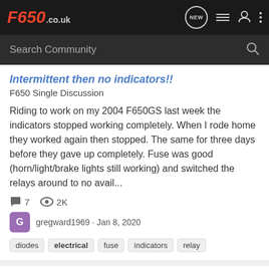F650.co.uk
Search Community
Intermittent then no indicators!!
F650 Single Discussion
Riding to work on my 2004 F650GS last week the indicators stopped working completely. When I rode home they worked again then stopped. The same for three days before they gave up completely. Fuse was good (horn/light/brake lights still working) and switched the relays around to no avail...
7 replies · 2K views · gregward1969 · Jan 8, 2020
diodes
electrical
fuse
indicators
relay
Replacing brake microswitch wire: 2003 F650GS
F650 Single Discussion